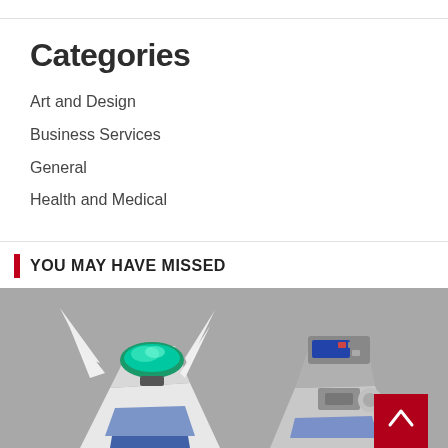Categories
Art and Design
Business Services
General
Health and Medical
YOU MAY HAVE MISSED
[Figure (photo): Two futuristic robot or drone head designs on a grey background, one featuring a green visor and white fins, the other with grey angular design and digital display]